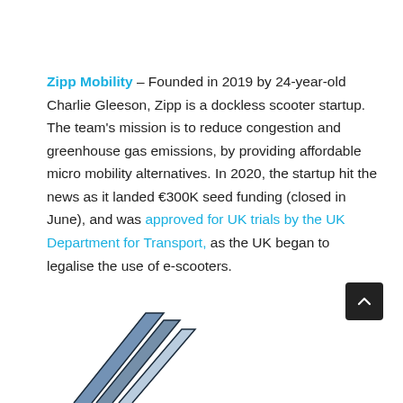Zipp Mobility – Founded in 2019 by 24-year-old Charlie Gleeson, Zipp is a dockless scooter startup. The team's mission is to reduce congestion and greenhouse gas emissions, by providing affordable micro mobility alternatives. In 2020, the startup hit the news as it landed €300K seed funding (closed in June), and was approved for UK trials by the UK Department for Transport, as the UK began to legalise the use of e-scooters.
[Figure (logo): Partial Zipp Mobility logo — angular triangular chevron shape in dark blue/grey tones, cropped at bottom of page]